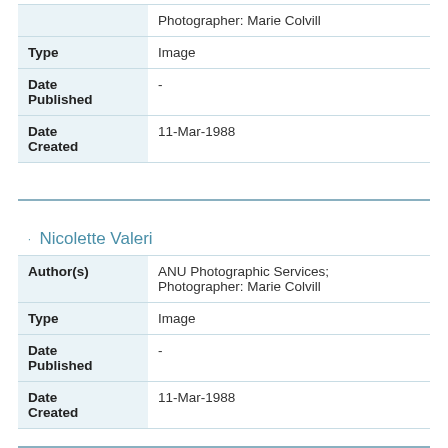| Field | Value |
| --- | --- |
|  | ANU Photographic Services; Photographer: Marie Colvill |
| Type | Image |
| Date Published | - |
| Date Created | 11-Mar-1988 |
Nicolette Valeri
| Field | Value |
| --- | --- |
| Author(s) | ANU Photographic Services; Photographer: Marie Colvill |
| Type | Image |
| Date Published | - |
| Date Created | 11-Mar-1988 |